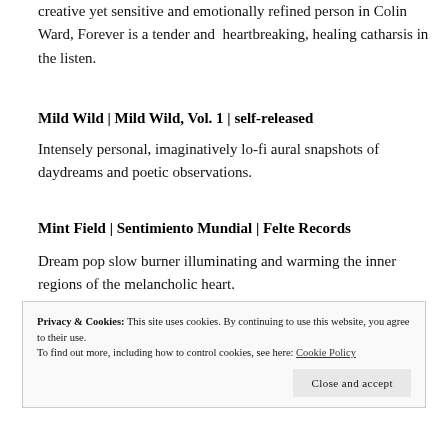creative yet sensitive and emotionally refined person in Colin Ward, Forever is a tender and heartbreaking, healing catharsis in the listen.
Mild Wild | Mild Wild, Vol. 1 | self-released
Intensely personal, imaginatively lo-fi aural snapshots of daydreams and poetic observations.
Mint Field | Sentimiento Mundial | Felte Records
Dream pop slow burner illuminating and warming the inner regions of the melancholic heart.
Privacy & Cookies: This site uses cookies. By continuing to use this website, you agree to their use. To find out more, including how to control cookies, see here: Cookie Policy